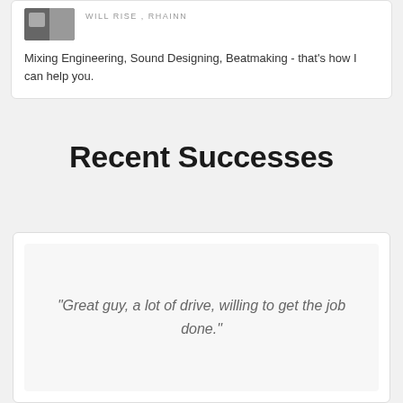WILL RISE , RHAINN
Mixing Engineering, Sound Designing, Beatmaking - that's how I can help you.
Recent Successes
"Great guy, a lot of drive, willing to get the job done."